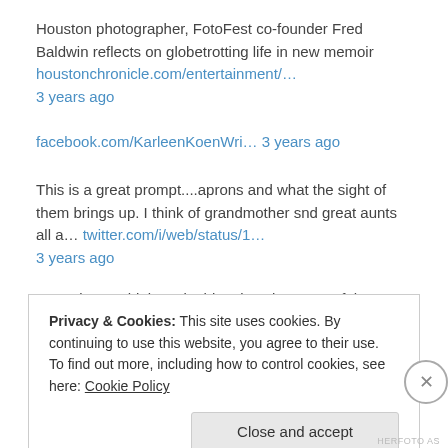Houston photographer, FotoFest co-founder Fred Baldwin reflects on globetrotting life in new memoir houstonchronicle.com/entertainment/…
3 years ago
facebook.com/KarleenKoenWri… 3 years ago
This is a great prompt....aprons and what the sight of them brings up. I think of grandmother snd great aunts all a… twitter.com/i/web/status/1…
3 years ago
Sometimes I think I write historians because of the yummy clothes!
facebook.com/KarleenKoenWri… 3 years ago
Privacy & Cookies: This site uses cookies. By continuing to use this website, you agree to their use.
To find out more, including how to control cookies, see here: Cookie Policy
Close and accept